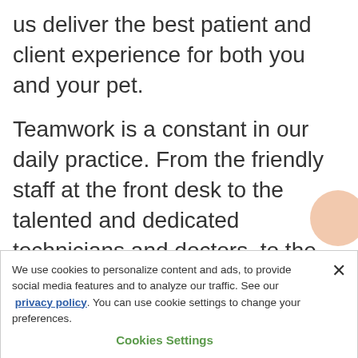us deliver the best patient and client experience for both you and your pet.

Teamwork is a constant in our daily practice. From the friendly staff at the front desk to the talented and dedicated technicians and doctors, to the fun-loving kennel and day-care staff, our team works cohesively to create a warm and welcoming experience
We use cookies to personalize content and ads, to provide social media features and to analyze our traffic. See our privacy policy. You can use cookie settings to change your preferences.
Cookies Settings